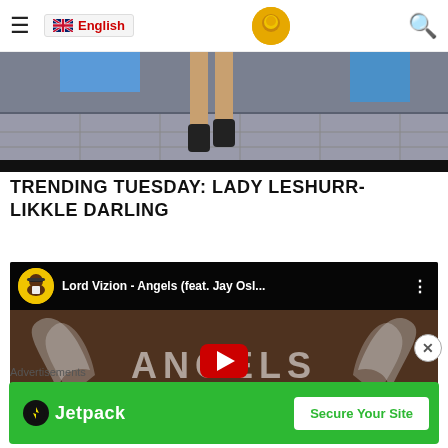☰  🇬🇧 English  [logo]  🔍
[Figure (photo): Hero image showing legs of a person walking on a paved surface, partial body visible]
TRENDING TUESDAY: LADY LESHURR- LIKKLE DARLING
[Figure (screenshot): YouTube video embed showing Lord Vizion - Angels (feat. Jay Osl... with play button overlay and ANGELS text watermark]
Advertisements
[Figure (infographic): Jetpack advertisement banner - green background with Jetpack logo and 'Secure Your Site' CTA button]